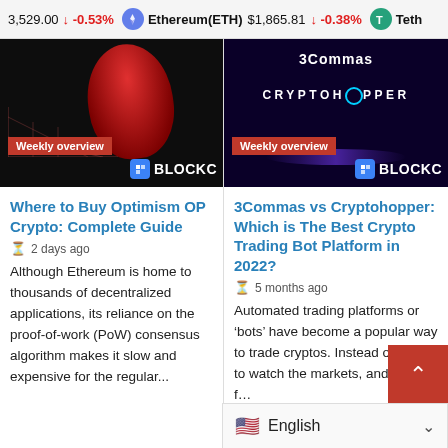3,529.00 ↓ -0.53%  Ethereum(ETH) $1,865.81 ↓ -0.38%  Teth
[Figure (screenshot): Thumbnail image: dark background with red shape and grid lines, Weekly overview badge, BLOCKC logo. Left article thumbnail for 'Where to Buy Optimism OP Crypto'.]
Where to Buy Optimism OP Crypto: Complete Guide
2 days ago
Although Ethereum is home to thousands of decentralized applications, its reliance on the proof-of-work (PoW) consensus algorithm makes it slow and expensive for the regular...
[Figure (screenshot): Thumbnail image: dark purple background with 3Commas and CRYPTOHOPPER logos, Weekly overview badge, BLOCKC logo. Right article thumbnail for '3Commas vs Cryptohopper'.]
3Commas vs Cryptohopper: Which is The Best Crypto Trading Bot Platform in 2022?
5 months ago
Automated trading platforms or ‘bots’ have become a popular way to trade cryptos. Instead of having to watch the markets, and look f…